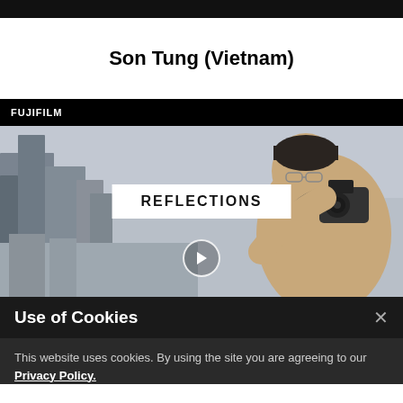Son Tung (Vietnam)
[Figure (screenshot): Fujifilm branded video screenshot showing a young man holding a camera in front of a city skyline, with a white overlay label reading REFLECTIONS and a play button circle]
Use of Cookies
This website uses cookies. By using the site you are agreeing to our Privacy Policy.